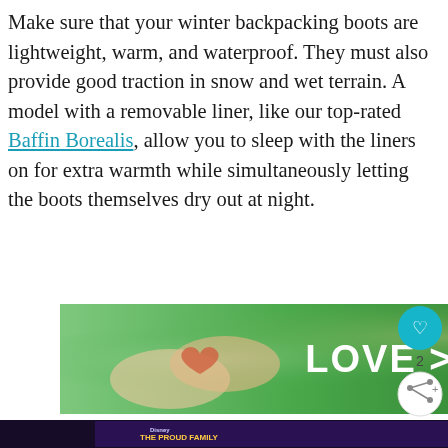Make sure that your winter backpacking boots are lightweight, warm, and waterproof. They must also provide good traction in snow and wet terrain. A model with a removable liner, like our top-rated Baffin Borealis, allow you to sleep with the liners on for extra warmth while simultaneously letting the boots themselves dry out at night.
[Figure (screenshot): Advertisement banner showing hands forming a heart shape with text 'LOVE > HATE' on a green background]
[Figure (screenshot): Sidebar UI elements: teal heart button, count '2', and share button]
[Figure (screenshot): What's Next promo box with thumbnail and text 'The Ultimate Guide to...']
[Figure (screenshot): Bottom advertisement banner for The Proud Family on Disney+, black background]